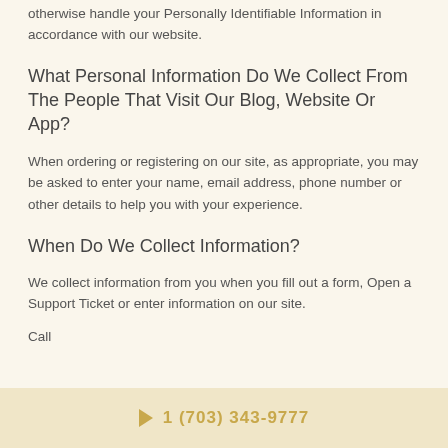otherwise handle your Personally Identifiable Information in accordance with our website.
What Personal Information Do We Collect From The People That Visit Our Blog, Website Or App?
When ordering or registering on our site, as appropriate, you may be asked to enter your name, email address, phone number or other details to help you with your experience.
When Do We Collect Information?
We collect information from you when you fill out a form, Open a Support Ticket or enter information on our site.
Call
1 (703) 343-9777